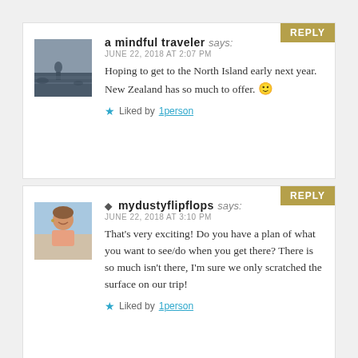[Figure (photo): Avatar photo of a person on a beach/rocky shore]
a mindful traveler says:
JUNE 22, 2018 AT 2:07 PM
Hoping to get to the North Island early next year. New Zealand has so much to offer. 🙂
Liked by 1person
[Figure (photo): Avatar photo of a smiling woman]
mydustyflipflops says:
JUNE 22, 2018 AT 3:10 PM
That's very exciting! Do you have a plan of what you want to see/do when you get there? There is so much isn't there, I'm sure we only scratched the surface on our trip!
Liked by 1person